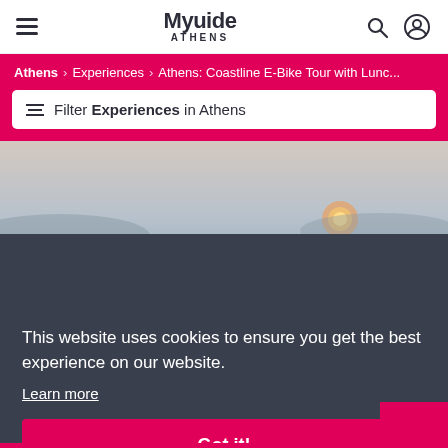MyGuide ATHENS
Athens > Experiences > Athens: Coastline E-Bike Tour with Lunc...
Filter Experiences in Athens
[Figure (photo): An e-bike parked near a coastal waterfront at sunset, with calm sea and distant hills in the background.]
This website uses cookies to ensure you get the best experience on our website. Learn more
Got it!